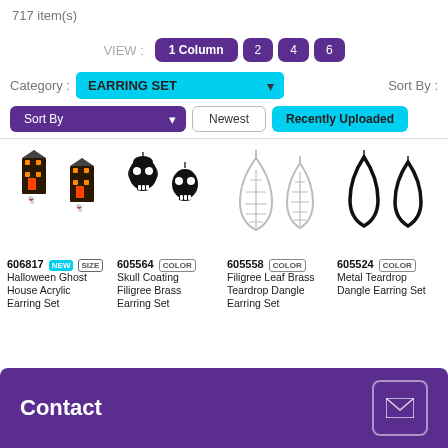717 item(s)
VIEW : 1 Column 2 4 6
Category : EARRING SET   Sort By :
Sort By   Newest   Recently Uploaded
[Figure (screenshot): Product grid showing 4 earring sets: 606817 Halloween Ghost House Acrylic Earring Set (NEW, SIZE), 605564 Skull Coating Filigree Brass Earring Set (COLOR), 605558 Filigree Leaf Brass Teardrop Dangle Earring Set (COLOR), 605524 Metal Teardrop Dangle Earring Set (COLOR)]
Contact